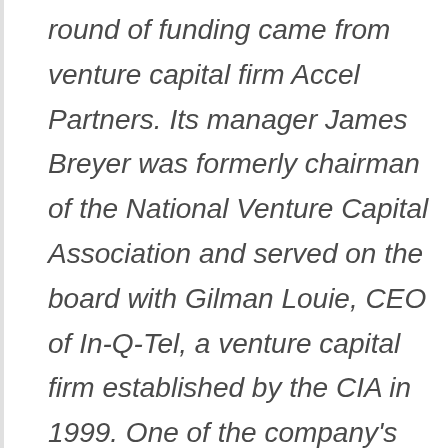round of funding came from venture capital firm Accel Partners. Its manager James Breyer was formerly chairman of the National Venture Capital Association and served on the board with Gilman Louie, CEO of In-Q-Tel, a venture capital firm established by the CIA in 1999. One of the company's key areas of expertise is in “data mining technologies.